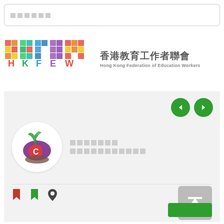[Figure (screenshot): Search box with placeholder text (grey squares)]
[Figure (logo): HKFEW logo with colorful geometric letters and Chinese/English organization name: 香港教育工作者聯會 / Hong Kong Federation of Education Workers]
[Figure (screenshot): Organization card with circular logo, placeholder Chinese text for org name and description, bookmark icons, location pin icon, back-to-top button, slash and LCC text, and green button at bottom]